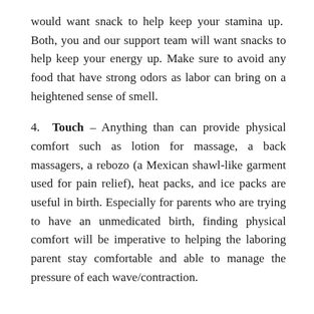would want snack to help keep your stamina up. Both, you and our support team will want snacks to help keep your energy up. Make sure to avoid any food that have strong odors as labor can bring on a heightened sense of smell.
4. Touch – Anything than can provide physical comfort such as lotion for massage, a back massagers, a rebozo (a Mexican shawl-like garment used for pain relief), heat packs, and ice packs are useful in birth. Especially for parents who are trying to have an unmedicated birth, finding physical comfort will be imperative to helping the laboring parent stay comfortable and able to manage the pressure of each wave/contraction.